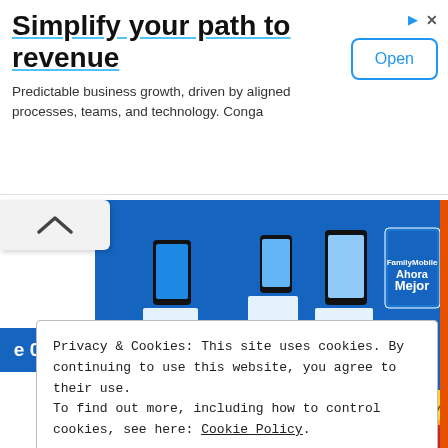[Figure (screenshot): Advertisement banner: 'Simplify your path to revenue' with subtitle 'Predictable business growth, driven by aligned processes, teams, and technology. Conga' and an 'Open' button on the right.]
[Figure (photo): Retail store display wall showing prepaid mobile phone plans and devices at Walmart, featuring FamilyMobile and TracFone products on a blue and yellow pegboard display.]
Privacy & Cookies: This site uses cookies. By continuing to use this website, you agree to their use.
To find out more, including how to control cookies, see here: Cookie Policy